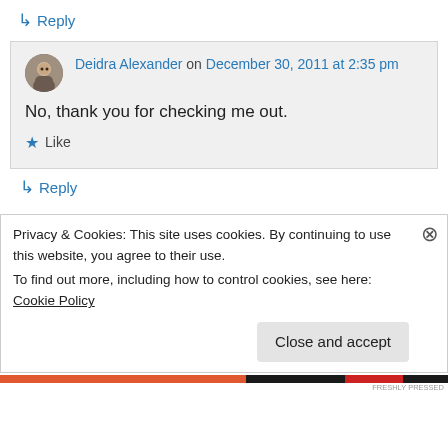↳ Reply
Deidra Alexander on December 30, 2011 at 2:35 pm
No, thank you for checking me out.
★ Like
↳ Reply
Privacy & Cookies: This site uses cookies. By continuing to use this website, you agree to their use.
To find out more, including how to control cookies, see here: Cookie Policy
Close and accept